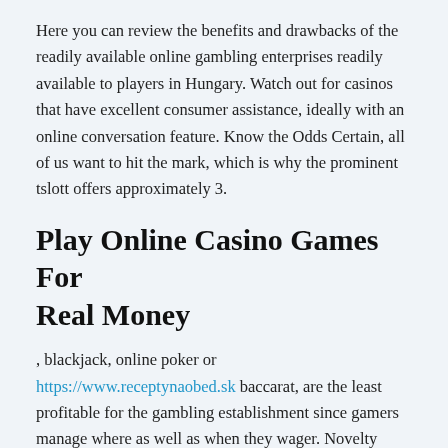Here you can review the benefits and drawbacks of the readily available online gambling enterprises readily available to players in Hungary. Watch out for casinos that have excellent consumer assistance, ideally with an online conversation feature. Know the Odds Certain, all of us want to hit the mark, which is why the prominent tslott offers approximately 3.
Play Online Casino Games For Real Money
, blackjack, online poker or https://www.receptynaobed.sk baccarat, are the least profitable for the gambling establishment since gamers manage where as well as when they wager. Novelty video games, which are lottery-type video games, are the games with the highest profit margin for www.myvnstore.com the online gambling